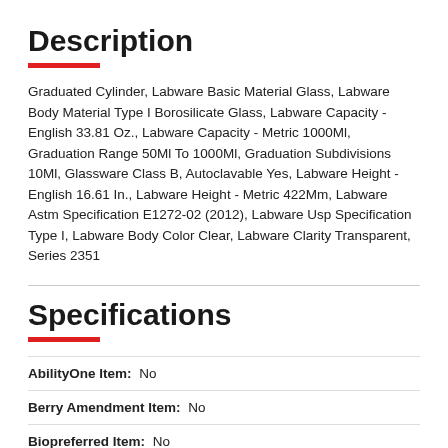Description
Graduated Cylinder, Labware Basic Material Glass, Labware Body Material Type I Borosilicate Glass, Labware Capacity - English 33.81 Oz., Labware Capacity - Metric 1000Ml, Graduation Range 50Ml To 1000Ml, Graduation Subdivisions 10Ml, Glassware Class B, Autoclavable Yes, Labware Height - English 16.61 In., Labware Height - Metric 422Mm, Labware Astm Specification E1272-02 (2012), Labware Usp Specification Type I, Labware Body Color Clear, Labware Clarity Transparent, Series 2351
Specifications
AbilityOne Item: No
Berry Amendment Item: No
Biopreferred Item: No